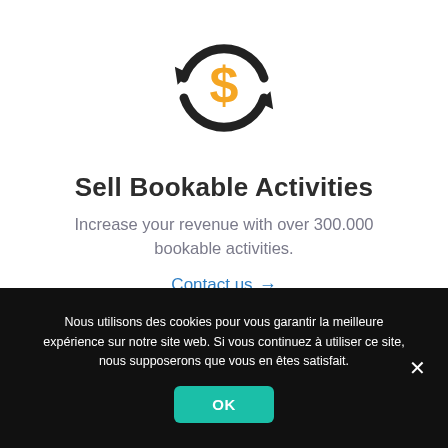[Figure (illustration): Circular arrows icon with a dollar sign in the center, representing bookable activity transactions. The circular arrows are dark/black and the dollar sign is golden/orange.]
Sell Bookable Activities
Increase your revenue with over 300.000 bookable activities.
Contact us →
Nous utilisons des cookies pour vous garantir la meilleure expérience sur notre site web. Si vous continuez à utiliser ce site, nous supposerons que vous en êtes satisfait.
OK